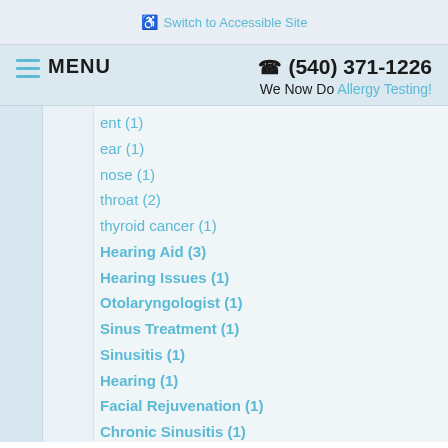♿ Switch to Accessible Site
≡ MENU   ☎ (540) 371-1226   We Now Do Allergy Testing!
ent (1)
ear (1)
nose (1)
throat (2)
thyroid cancer (1)
Hearing Aid (3)
Hearing Issues (1)
Otolaryngologist (1)
Sinus Treatment (1)
Sinusitis (1)
Hearing (1)
Facial Rejuvenation (1)
Chronic Sinusitis (1)
Thyroid Conditions (1)
Adenoids (1)